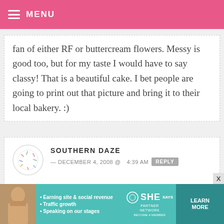MENU
fan of either RF or buttercream flowers. Messy is good too, but for my taste I would have to say classy! That is a beautiful cake. I bet people are going to print out that picture and bring it to their local bakery. :)
SOUTHERN DAZE — DECEMBER 4, 2008 @ 4:39 AM REPLY
Definitely messy! Although, all three look amazing and I wouldn't have
[Figure (other): Advertisement banner for SHE Partner Network with text: Earning site & social revenue, Traffic growth, Speaking on our stages. LEARN MORE button.]